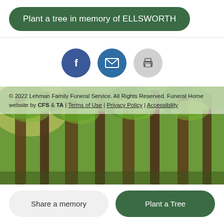Plant a tree in memory of ELLSWORTH
[Figure (infographic): Three circular icon buttons: Facebook (dark blue), email/envelope (medium blue), print (light gray)]
[Figure (photo): Forest background photo showing tall trees with green leaves and sunlight filtering through]
© 2022 Lehman Family Funeral Service. All Rights Reserved. Funeral Home website by CFS & TA | Terms of Use | Privacy Policy | Accessibility
Share a memory
Plant a Tree